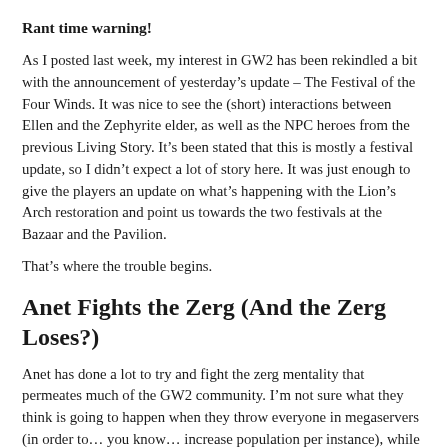Rant time warning!
As I posted last week, my interest in GW2 has been rekindled a bit with the announcement of yesterday’s update – The Festival of the Four Winds. It was nice to see the (short) interactions between Ellen and the Zephyrite elder, as well as the NPC heroes from the previous Living Story. It’s been stated that this is mostly a festival update, so I didn’t expect a lot of story here. It was just enough to give the players an update on what’s happening with the Lion’s Arch restoration and point us towards the two festivals at the Bazaar and the Pavilion.
That’s where the trouble begins.
Anet Fights the Zerg (And the Zerg Loses?)
Anet has done a lot to try and fight the zerg mentality that permeates much of the GW2 community. I’m not sure what they think is going to happen when they throw everyone in megaservers (in order to… you know… increase population per instance), while trying to discourage people from playing together in large groups. It doesn’t quite make sense.